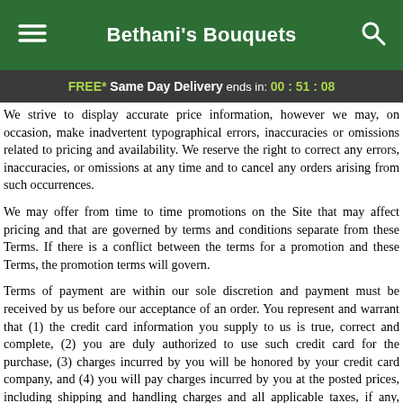Bethani's Bouquets
FREE* Same Day Delivery ends in: 00:51:08
We strive to display accurate price information, however we may, on occasion, make inadvertent typographical errors, inaccuracies or omissions related to pricing and availability. We reserve the right to correct any errors, inaccuracies, or omissions at any time and to cancel any orders arising from such occurrences.
We may offer from time to time promotions on the Site that may affect pricing and that are governed by terms and conditions separate from these Terms. If there is a conflict between the terms for a promotion and these Terms, the promotion terms will govern.
Terms of payment are within our sole discretion and payment must be received by us before our acceptance of an order. You represent and warrant that (1) the credit card information you supply to us is true, correct and complete, (2) you are duly authorized to use such credit card for the purchase, (3) charges incurred by you will be honored by your credit card company, and (4) you will pay charges incurred by you at the posted prices, including shipping and handling charges and all applicable taxes, if any, regardless of the